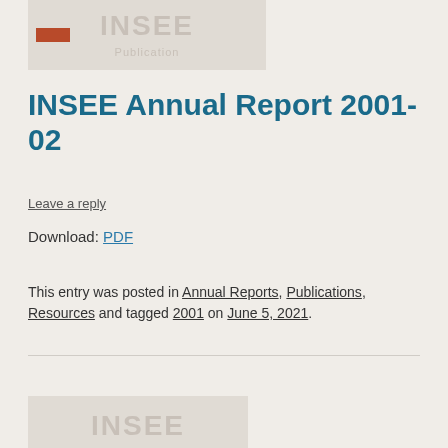[Figure (logo): INSEE Publication logo card with orange/red badge and grey text on light grey background]
INSEE Annual Report 2001-02
Leave a reply
Download: PDF
This entry was posted in Annual Reports, Publications, Resources and tagged 2001 on June 5, 2021.
[Figure (logo): INSEE logo card partial view at bottom of page]